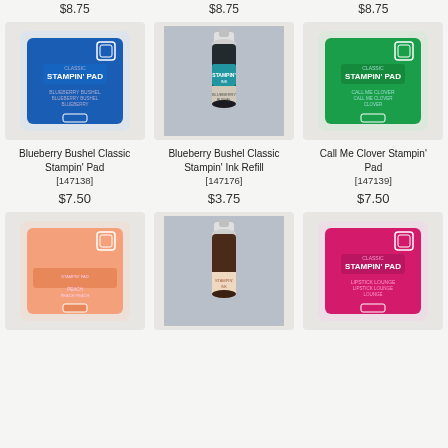$8.75
$8.75
$8.75
[Figure (photo): Blueberry Bushel Classic Stampin' Pad - blue ink pad]
[Figure (photo): Blueberry Bushel Classic Stampin' Ink Refill - dark ink bottle]
[Figure (photo): Call Me Clover Stampin' Pad - green ink pad]
Blueberry Bushel Classic Stampin' Pad [147138]
$7.50
Blueberry Bushel Classic Stampin' Ink Refill [147176]
$3.75
Call Me Clover Stampin' Pad [147139]
$7.50
[Figure (photo): Peach/salmon colored Stampin' Pad]
[Figure (photo): Peach/brown ink refill bottle]
[Figure (photo): Pink/magenta Stampin' Pad]